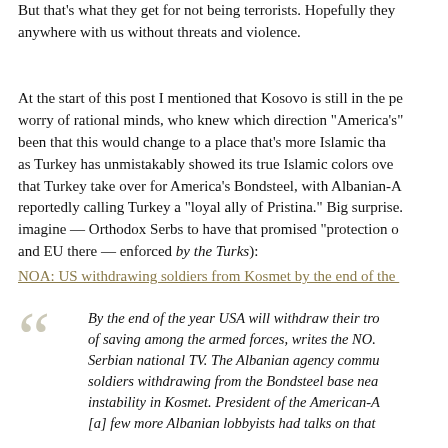But that's what they get for not being terrorists. Hopefully they anywhere with us without threats and violence.
At the start of this post I mentioned that Kosovo is still in the pe worry of rational minds, who knew which direction "America's" been that this would change to a place that's more Islamic tha as Turkey has unmistakably showed its true Islamic colors ove that Turkey take over for America's Bondsteel, with Albanian-A reportedly calling Turkey a "loyal ally of Pristina." Big surprise. imagine — Orthodox Serbs to have that promised "protection o and EU there — enforced by the Turks):
NOA: US withdrawing soldiers from Kosmet by the end of the
By the end of the year USA will withdraw their troo of saving among the armed forces, writes the NO. Serbian national TV. The Albanian agency commu soldiers withdrawing from the Bondsteel base nea instability in Kosmet. President of the American-A [a] few more Albanian lobbyists had talks on that a